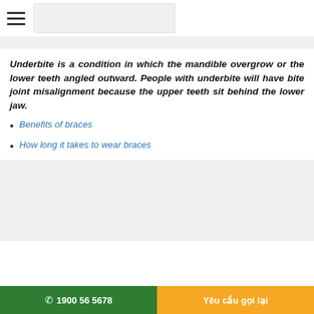Underbite is a condition in which the mandible overgrow or the lower teeth angled outward. People with underbite will have bite joint misalignment because the upper teeth sit behind the lower jaw.
Benefits of braces
How long it takes to wear braces
[Figure (photo): Image placeholder area below the list]
1900 56 5678   Yêu cầu gọi lại